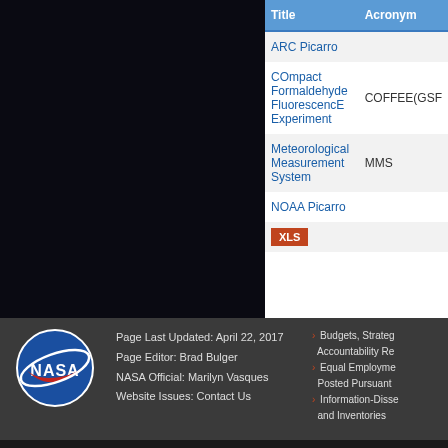| Title | Acronym |
| --- | --- |
| ARC Picarro |  |
| COmpact Formaldehyde FluorescencE Experiment | COFFEE(GSF |
| Meteorological Measurement System | MMS |
| NOAA Picarro |  |
| XLS |  |
Page Last Updated: April 22, 2017
Page Editor: Brad Bulger
NASA Official: Marilyn Vasques
Website Issues: Contact Us
› Budgets, Strateg... Accountability Re...
› Equal Employme... Posted Pursuant...
› Information-Disse... and Inventories